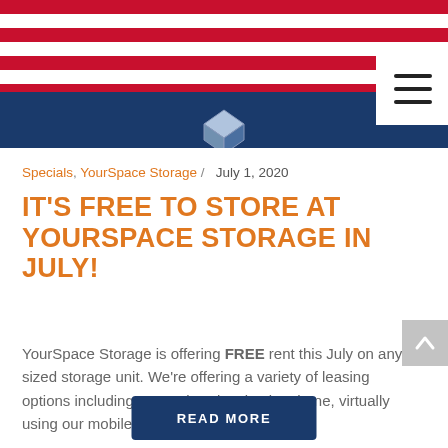[Figure (photo): Header banner image showing American flag colors (red and blue) with a storage company logo and a hamburger menu icon on the right. Text reads 'Free 1st month's rent with purchase'.]
Specials, YourSpace Storage /  July 1, 2020
IT'S FREE TO STORE AT YOURSPACE STORAGE IN JULY!
YourSpace Storage is offering FREE rent this July on any sized storage unit. We're offering a variety of leasing options including contactless leasing by phone, virtually using our mobile [...]
READ MORE